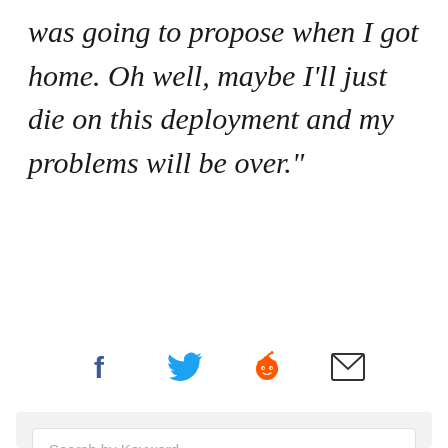was going to propose when I got home. Oh well, maybe I'll just die on this deployment and my problems will be over."
[Figure (infographic): Social sharing icons row: Facebook (f), Twitter (bird), Reddit (alien), Email (envelope)]
Search by Keyword ...
TRENDING